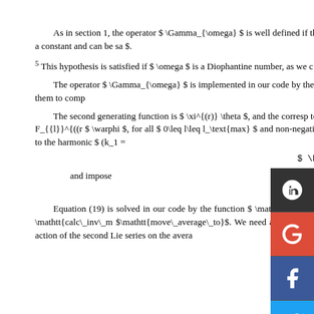$ \begin{equation} X^{(r)}\, = -\Gam
As in section 1, the operator $ \Gamma_{\omega} $ is well defined if the f average function; the average of $ F_{{0}}^{(r-1, r)} $ is a constant and can be sa $.
5 This hypothesis is satisfied if $ \omega $ is a Diophantine number, as we c
The operator $ \Gamma_{\omega} $ is implemented in our code by the f Hamiltonian to the variable $ \mathtt{target\_fn} $, and use them to comp
The second generating function is $ \xi^{(r)} \theta $, and the corresp to erase $ \langle F_{{1}}^{(r-1, r)} \rangle $, where $ \langle F_{{l}}^{(r $ \warphi $, for all $ 0\leq l\leq l_\text{max} $ and non-negative indexes $ but the coefficient $ g_{l, 0, 0} $ corresponding to the harmonic $ (k_1 =
$ \begin{equation} C^{(r)}\, = \, \sum\limits_{s
and impose
$ \begin{equation} C^{(r)}\, \xi^{(r}\ldots
Equation (19) is solved in our code by the function $ \mathtt{solve\_transl\ inverted; this operation is performed by the function $ \mathtt{calc\_inv\_m $\mathtt{move\_average\_to}$. We need also a function $\mathtt{readd\_lie\_s should have been produced by the action of the second Lie series on the avera